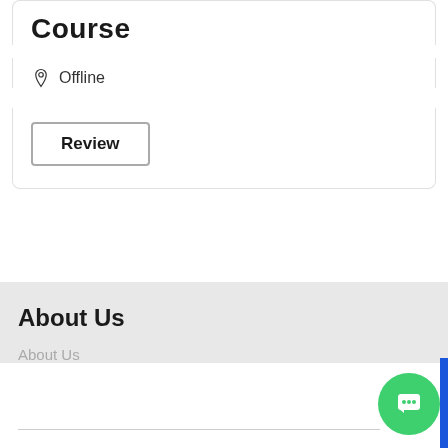Course
Offline
Review
About Us
About Us